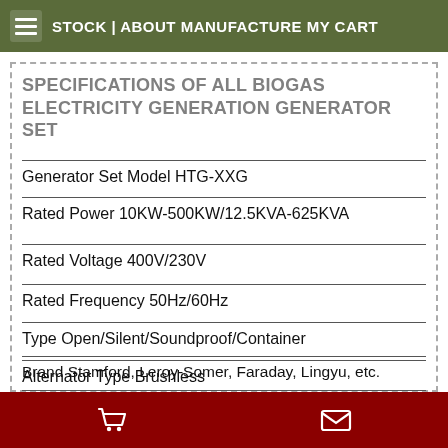STOCK | ABOUT MANUFACTURE MY CART
SPECIFICATIONS OF ALL BIOGAS ELECTRICITY GENERATION GENERATOR SET
Generator Set Model HTG-XXG
Rated Power 10KW-500KW/12.5KVA-625KVA
Rated Voltage 400V/230V
Rated Frequency 50Hz/60Hz
Type Open/Silent/Soundproof/Container
Alternator Type Brushless
Brand Stamford, Leroy-Somer, Faraday, Lingyu, etc.
Connection 3-phase, 4-wire